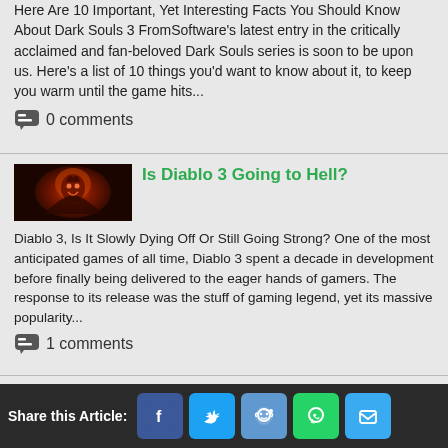Here Are 10 Important, Yet Interesting Facts You Should Know About Dark Souls 3 FromSoftware's latest entry in the critically acclaimed and fan-beloved Dark Souls series is soon to be upon us. Here's a list of 10 things you'd want to know about it, to keep you warm until the game hits...
0 comments
Is Diablo 3 Going to Hell?
[Figure (photo): Dark fantasy game artwork showing a demonic figure with fire/orange tones - Diablo 3]
Diablo 3, Is It Slowly Dying Off Or Still Going Strong? One of the most anticipated games of all time, Diablo 3 spent a decade in development before finally being delivered to the eager hands of gamers. The response to its release was the stuff of gaming legend, yet its massive popularity...
1 comments
Top 11 Games Like Castlevania: Lords of Shadow (Games Better Than...
[Figure (photo): Dark gothic game artwork showing a dark-haired figure - Castlevania Lords of Shadow]
Share this Article: